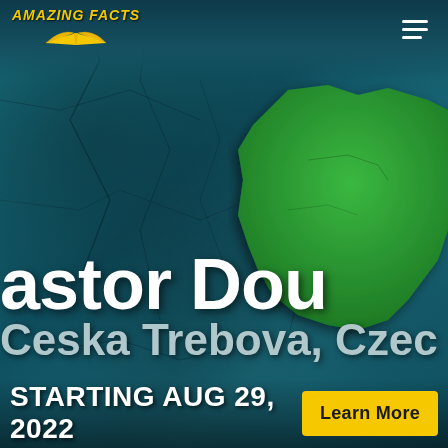Amazing Facts
[Figure (illustration): Screenshot of Amazing Facts website showing a promotional banner for Pastor Doug event in Ceska Trebova, Czech Republic, starting Aug 29, 2022. Features cracked blue stone texture background with a green map blob shape on the right side, white large text partially visible reading 'astor Dou' and 'Ceska Trebova, Czec', and a yellow 'Learn More' button.]
Pastor Doug
Ceska Trebova, Czech
STARTING AUG 29, 2022
Learn More